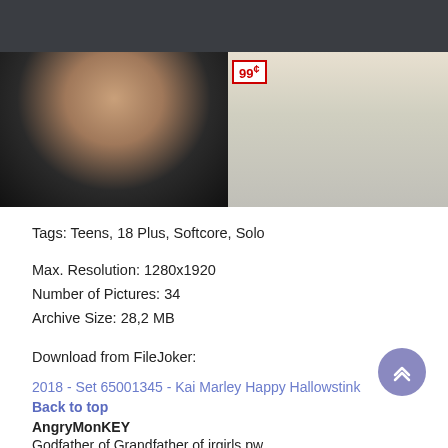[Figure (photo): Two photos side by side in a store setting. Left photo shows a person in a black top. Right photo shows a person's legs in a store aisle with a 99 cent price sign visible.]
Tags: Teens, 18 Plus, Softcore, Solo
Max. Resolution: 1280x1920
Number of Pictures: 34
Archive Size: 28,2 MB
Download from FileJoker:
2018 - Set 65001345 - Kai Marley Happy Hallowstink
Back to top
AngryMonKEY
Godfather of Grandfather of jrgirls.pw